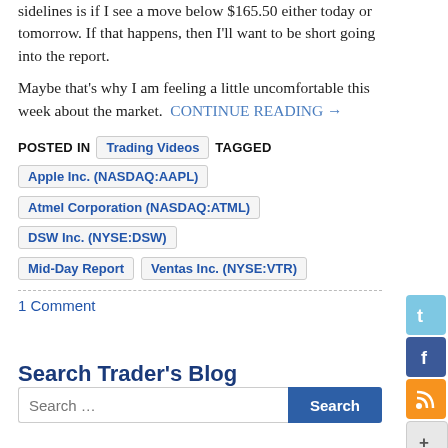sidelines is if I see a move below $165.50 either today or tomorrow. If that happens, then I'll want to be short going into the report.
Maybe that's why I am feeling a little uncomfortable this week about the market.  CONTINUE READING →
POSTED IN  Trading Videos  TAGGED
Apple Inc. (NASDAQ:AAPL)
Atmel Corporation (NASDAQ:ATML)
DSW Inc. (NYSE:DSW)
Mid-Day Report
Ventas Inc. (NYSE:VTR)
1 Comment
Search Trader's Blog